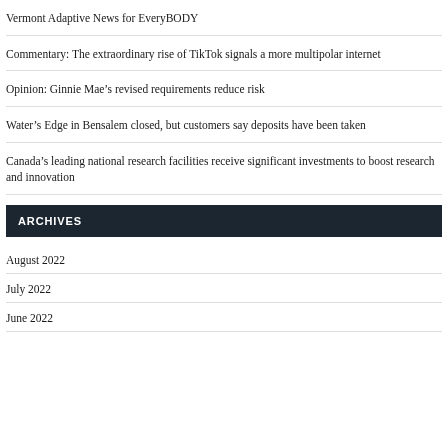Vermont Adaptive News for EveryBODY
Commentary: The extraordinary rise of TikTok signals a more multipolar internet
Opinion: Ginnie Mae’s revised requirements reduce risk
Water’s Edge in Bensalem closed, but customers say deposits have been taken
Canada’s leading national research facilities receive significant investments to boost research and innovation
ARCHIVES
August 2022
July 2022
June 2022